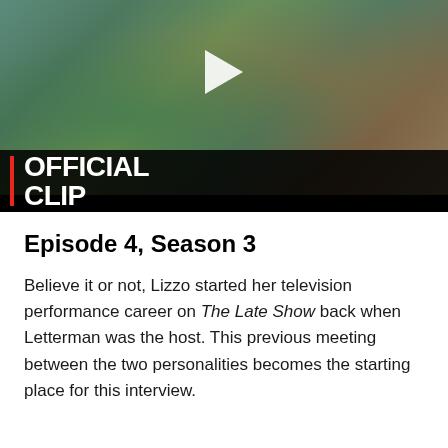[Figure (photo): Video thumbnail showing two people playing flutes in a room, with 'OFFICIAL CLIP' text overlay on a dark background with a red vertical bar, and a play button icon in the center.]
Episode 4, Season 3
Believe it or not, Lizzo started her television performance career on The Late Show back when Letterman was the host. This previous meeting between the two personalities becomes the starting place for this interview.